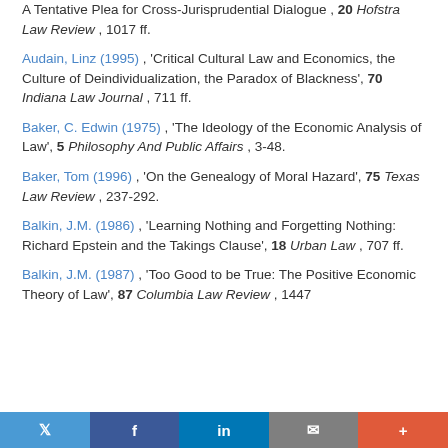A Tentative Plea for Cross-Jurisprudential Dialogue, 20 Hofstra Law Review, 1017 ff.
Audain, Linz (1995), 'Critical Cultural Law and Economics, the Culture of Deindividualization, the Paradox of Blackness', 70 Indiana Law Journal, 711 ff.
Baker, C. Edwin (1975), 'The Ideology of the Economic Analysis of Law', 5 Philosophy And Public Affairs, 3-48.
Baker, Tom (1996), 'On the Genealogy of Moral Hazard', 75 Texas Law Review, 237-292.
Balkin, J.M. (1986), 'Learning Nothing and Forgetting Nothing: Richard Epstein and the Takings Clause', 18 Urban Law, 707 ff.
Balkin, J.M. (1987), 'Too Good to be True: The Positive Economic Theory of Law', 87 Columbia Law Review, 1447